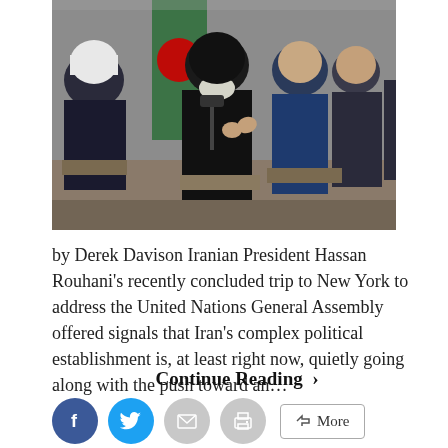[Figure (photo): Group of men in formal and religious attire seated in chairs at what appears to be an official Iranian government meeting, with an Iranian flag visible in the background. The central figure appears to be speaking at a microphone.]
by Derek Davison Iranian President Hassan Rouhani's recently concluded trip to New York to address the United Nations General Assembly offered signals that Iran's complex political establishment is, at least right now, quietly going along with the push toward an...
Continue Reading >